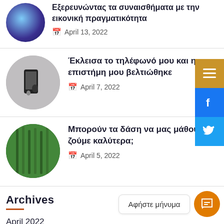Εξερευνώντας τα συναισθήματα με την εικονική πραγματικότητα — April 13, 2022
Έκλεισα το τηλέφωνό μου και η επιστήμη μου βελτιώθηκε — April 7, 2022
Μπορούν τα δάση να μας μάθουν να ζούμε καλύτερα; — April 5, 2022
Archives
April 2022
Αφήστε μήνυμα